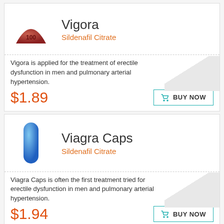[Figure (photo): Red triangular pill with '100' imprinted]
Vigora
Sildenafil Citrate
Vigora is applied for the treatment of erectile dysfunction in men and pulmonary arterial hypertension.
$1.89
BUY NOW
[Figure (photo): Blue capsule pill]
Viagra Caps
Sildenafil Citrate
Viagra Caps is often the first treatment tried for erectile dysfunction in men and pulmonary arterial hypertension.
$1.94
BUY NOW
[Figure (photo): Hiforce ODS strip package box]
Hiforce ODS
Sildenafil Citrate (Viagra Strips)